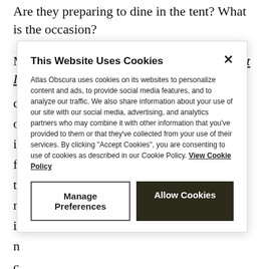Are they preparing to dine in the tent? What is the occasion?
Many of the photos in the exhibit Every Past Is My Past
c
o
i
f
t
n
ic
n
c
i
the hat is waiting for.
This Website Uses Cookies
Atlas Obscura uses cookies on its websites to personalize content and ads, to provide social media features, and to analyze our traffic. We also share information about your use of our site with our social media, advertising, and analytics partners who may combine it with other information that you've provided to them or that they've collected from your use of their services. By clicking "Accept Cookies", you are consenting to use of cookies as described in our Cookie Policy. View Cookie Policy
Manage Preferences
Allow Cookies